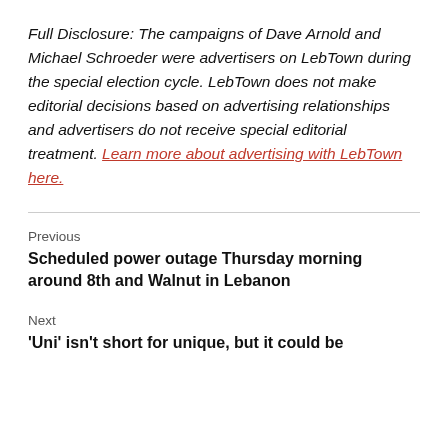Full Disclosure: The campaigns of Dave Arnold and Michael Schroeder were advertisers on LebTown during the special election cycle. LebTown does not make editorial decisions based on advertising relationships and advertisers do not receive special editorial treatment. Learn more about advertising with LebTown here.
Previous
Scheduled power outage Thursday morning around 8th and Walnut in Lebanon
Next
‘Uni’ isn’t short for unique, but it could be